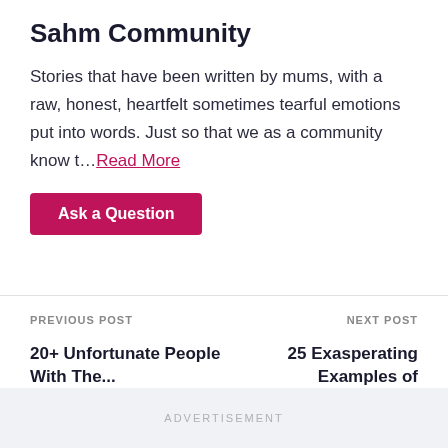Sahm Community
Stories that have been written by mums, with a raw, honest, heartfelt sometimes tearful emotions put into words. Just so that we as a community know t...Read More
Ask a Question
PREVIOUS POST
20+ Unfortunate People With The...
NEXT POST
25 Exasperating Examples of Mansplaining
ADVERTISEMENT